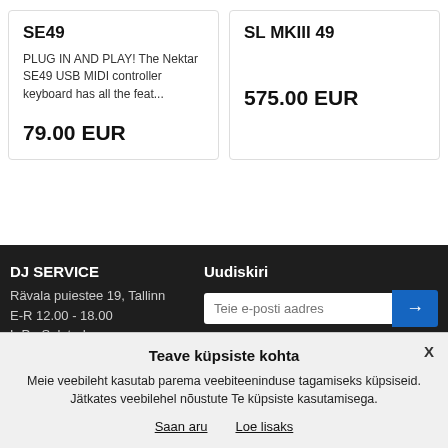SE49
PLUG IN AND PLAY! The Nektar SE49 USB MIDI controller keyboard has all the feat...
79.00 EUR
SL MKIII 49
575.00 EUR
DJ SERVICE
Rävala puiestee 19, Tallinn
E-R 12.00 - 18.00
L-P - Suletud
Uudiskiri
Teie e-posti aadres
Teave küpsiste kohta
Meie veebileht kasutab parema veebiteeninduse tagamiseks küpsiseid. Jätkates veebilehel nõustute Te küpsiste kasutamisega.
Saan aru
Loe lisaks